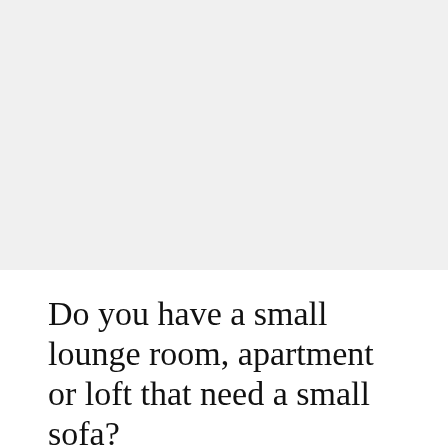[Figure (photo): Large whitespace/image area at the top of the page (appears blank/light gray)]
Do you have a small lounge room, apartment or loft that need a small sofa?
Olivia   March 1, 2017   Sofas
On the off chance that you, as of now have a small sofas space, the